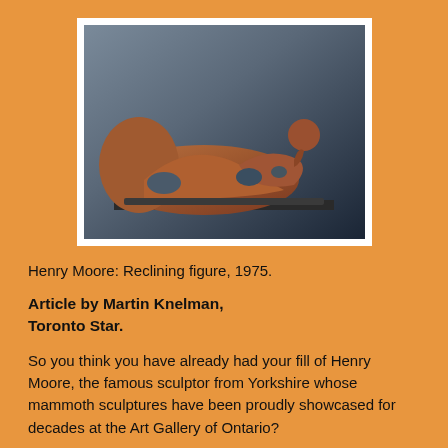[Figure (photo): Photograph of Henry Moore's bronze sculpture 'Reclining Figure' (1975), showing an abstract reclining human form with holes, displayed against a dark blue-grey background.]
Henry Moore: Reclining figure, 1975.
Article by Martin Knelman,
Toronto Star.
So you think you have already had your fill of Henry Moore, the famous sculptor from Yorkshire whose mammoth sculptures have been proudly showcased for decades at the Art Gallery of Ontario?
Prepare to have your preconceptions shattered.